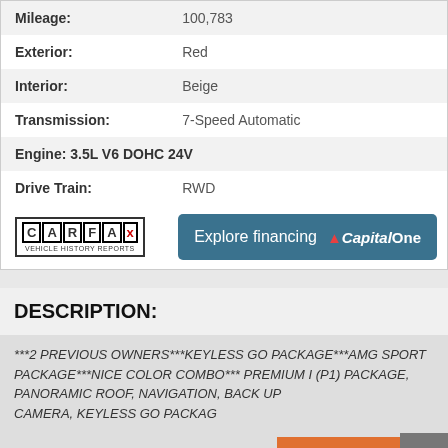| Mileage: | 100,783 |
| Exterior: | Red |
| Interior: | Beige |
| Transmission: | 7-Speed Automatic |
| Engine: 3.5L V6 DOHC 24V |  |
| Drive Train: | RWD |
[Figure (logo): CARFAX Vehicle History Reports logo]
[Figure (other): Explore financing Capital One button]
DESCRIPTION:
***2 PREVIOUS OWNERS***KEYLESS GO PACKAGE***AMG SPORT PACKAGE***NICE COLOR COMBO*** PREMIUM I (P1) PACKAGE, PANORAMIC ROOF, NAVIGATION, BACK UP CAMERA, KEYLESS GO PACKAGE
[Figure (other): Text Sales orange button and scroll-up arrow button]